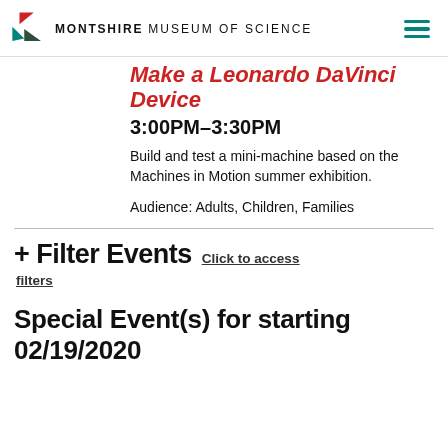MONTSHIRE MUSEUM OF SCIENCE
Make a Leonardo DaVinci Device
3:00PM–3:30PM
Build and test a mini-machine based on the Machines in Motion summer exhibition.
Audience: Adults, Children, Families
+ Filter Events Click to access filters
Special Event(s) for starting 02/19/2020